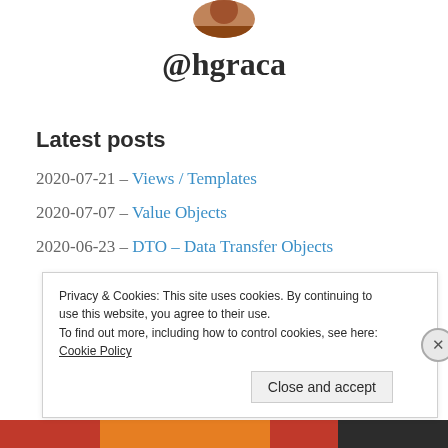[Figure (photo): Partial profile photo of a person at the top center of the page]
@hgraca
Latest posts
2020-07-21 – Views / Templates
2020-07-07 – Value Objects
2020-06-23 – DTO – Data Transfer Objects
Privacy & Cookies: This site uses cookies. By continuing to use this website, you agree to their use.
To find out more, including how to control cookies, see here: Cookie Policy
Close and accept